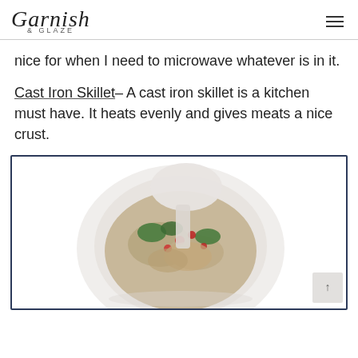Garnish & Glaze
nice for when I need to microwave whatever is in it.
Cast Iron Skillet– A cast iron skillet is a kitchen must have. It heats evenly and gives meats a nice crust.
[Figure (photo): A bowl of food (appears to be a grain or rice dish with vegetables and meat) photographed from above, shown inside a double-bordered frame.]